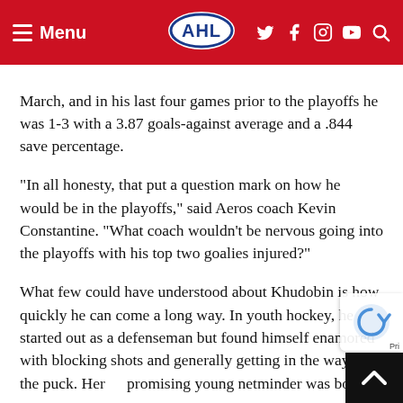Menu | AHL | social icons
March, and in his last four games prior to the playoffs he was 1-3 with a 3.87 goals-against average and a .844 save percentage.
"In all honesty, that put a question mark on how he would be in the playoffs," said Aeros coach Kevin Constantine. "What coach wouldn't be nervous going into the playoffs with his top two goalies injured?"
What few could have understood about Khudobin is how quickly he can come a long way. In youth hockey, he started out as a defenseman but found himself enamored with blocking shots and generally getting in the way of the puck. Here a promising young netminder was born.
"You have to find what's best for you, what you li